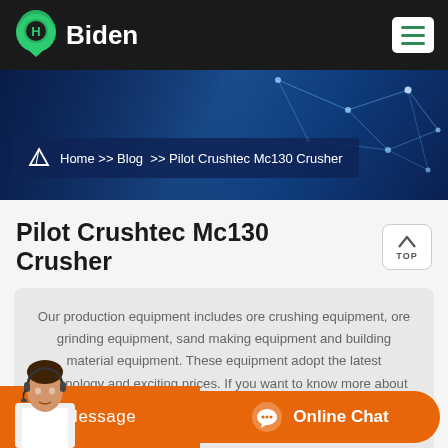Biden
[Figure (screenshot): Website header with Biden logo (green location pin with H, white text) on black background and white hamburger menu button]
[Figure (screenshot): Blue tech banner with network/dot pattern and breadcrumb: Home >> Blog >> Pilot Crushtec Mc130 Crusher]
Pilot Crushtec Mc130 Crusher
Our production equipment includes ore crushing equipment, ore grinding equipment, sand making equipment and building material equipment. These equipment adopt the latest technology and exciting prices. If you want to know more about the equipment, please contact us in time.
[Figure (photo): Customer service representative with headset]
Message   Online Chat